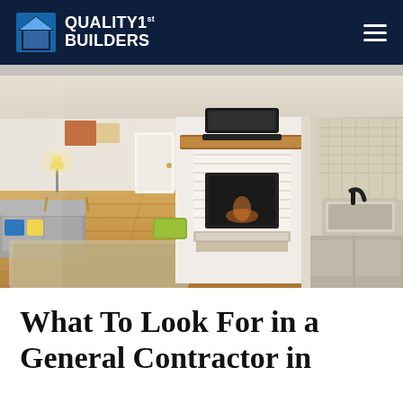QUALITY1st BUILDERS
[Figure (photo): Interior of a renovated home showing an open-plan living and kitchen area with light wood flooring, a white brick fireplace with a wood mantle, a mounted TV, a gray sofa, area rug, lamp, decorative art, yellow ottoman, and a kitchen with herringbone tile backsplash and dark faucet visible on the right.]
What To Look For in a General Contractor in